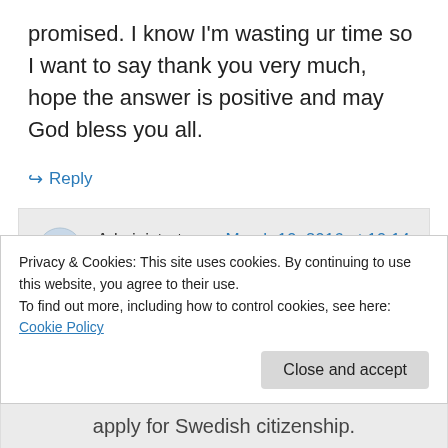promised. I know I'm wasting ur time so I want to say thank you very much, hope the answer is positive and may God bless you all.
↪ Reply
Administrator on March 10, 2016 at 10:14 am
Hello Herve Ihorimbere,
I'm not sure about your question, but I think
Privacy & Cookies: This site uses cookies. By continuing to use this website, you agree to their use.
To find out more, including how to control cookies, see here: Cookie Policy
Close and accept
apply for Swedish citizenship.